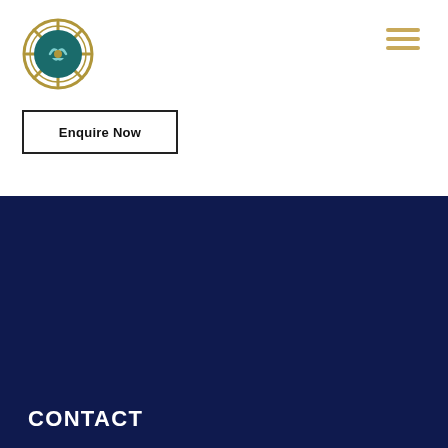[Figure (logo): Langkawi Yacht Club ship wheel logo]
Enquire Now
CONTACT
+604 9664078
+604 9665078
office@langkawiyachtclub.com